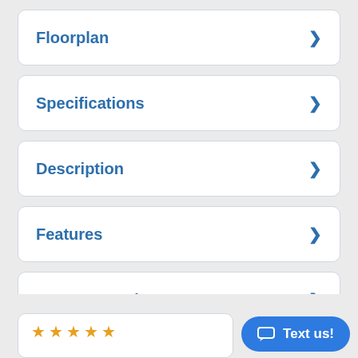Floorplan
Specifications
Description
Features
Factory Brochure
[Figure (other): Text us! chat button widget in bottom right corner]
[Figure (other): Five orange star rating shown at bottom of page]